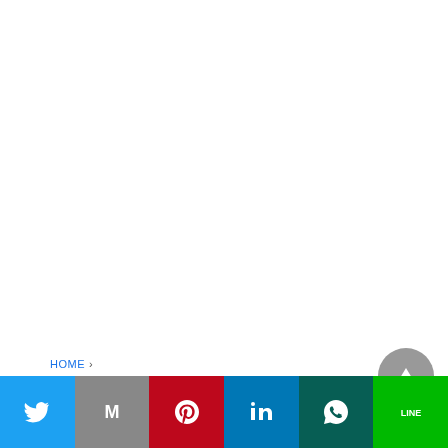HOME > TAIWANESE MAN FINED $47K FOR VIOLATING HOME QUARANTINE 7 TIMES
AUSTRALIA NEWS
[Figure (infographic): Social share bar with Twitter, Gmail, Pinterest, LinkedIn, WhatsApp, and LINE buttons at the bottom of the page]